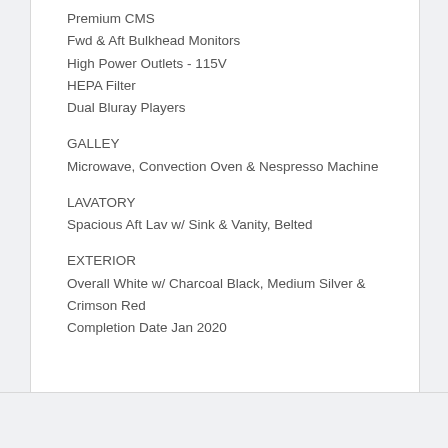Premium CMS
Fwd & Aft Bulkhead Monitors
High Power Outlets - 115V
HEPA Filter
Dual Bluray Players
GALLEY
Microwave, Convection Oven & Nespresso Machine
LAVATORY
Spacious Aft Lav w/ Sink & Vanity, Belted
EXTERIOR
Overall White w/ Charcoal Black, Medium Silver & Crimson Red
Completion Date Jan 2020